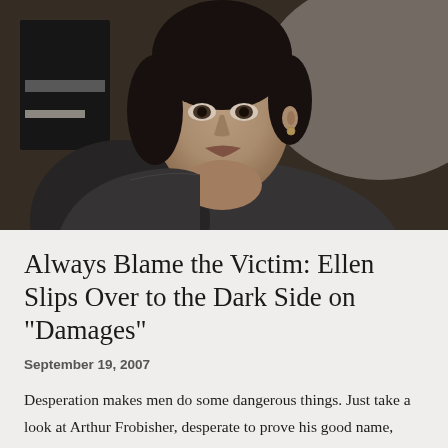[Figure (photo): A woman with dark hair pulled back, wearing a dark grey cardigan, looking off to the side with a serious or pensive expression. She appears to be in an indoor setting with dark background elements visible behind her.]
Always Blame the Victim: Ellen Slips Over to the Dark Side on "Damages"
September 19, 2007
Desperation makes men do some dangerous things. Just take a look at Arthur Frobisher, desperate to prove his good name, who's willing to stoop to new lows of malfeasance in order to do